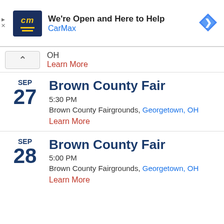[Figure (other): CarMax advertisement banner: logo with 'cm' on dark blue background, headline 'We're Open and Here to Help', brand name 'CarMax' in blue, navigation icon (blue diamond with arrow)]
OH
Learn More
SEP 27
Brown County Fair
5:30 PM
Brown County Fairgrounds, Georgetown, OH
Learn More
SEP 28
Brown County Fair
5:00 PM
Brown County Fairgrounds, Georgetown, OH
Learn More